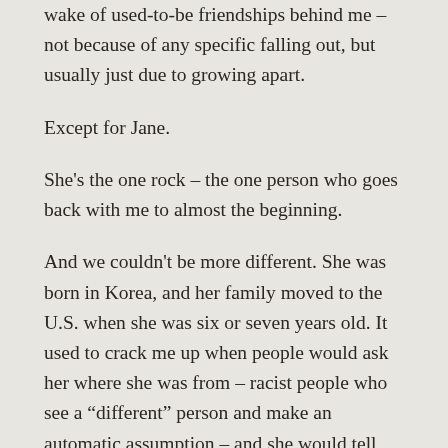wake of used-to-be friendships behind me – not because of any specific falling out, but usually just due to growing apart.
Except for Jane.
She's the one rock – the one person who goes back with me to almost the beginning.
And we couldn't be more different. She was born in Korea, and her family moved to the U.S. when she was six or seven years old. It used to crack me up when people would ask her where she was from – racist people who see a “different” person and make an automatic assumption – and she would tell them, “Baltimore.”